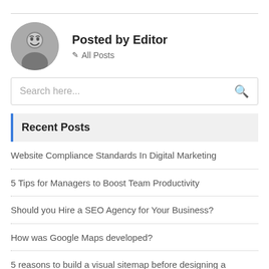[Figure (photo): Black and white circular avatar photo of a smiling man]
Posted by Editor
All Posts
Search here...
Recent Posts
Website Compliance Standards In Digital Marketing
5 Tips for Managers to Boost Team Productivity
Should you Hire a SEO Agency for Your Business?
How was Google Maps developed?
5 reasons to build a visual sitemap before designing a website